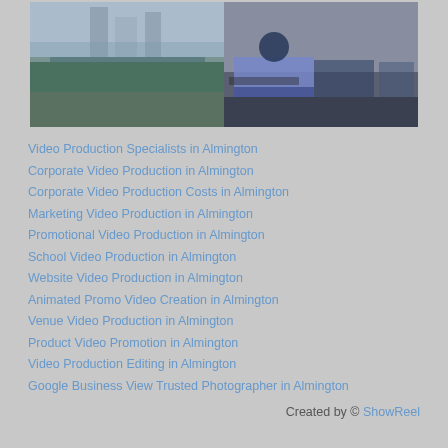[Figure (photo): Aerial/elevated photo of a city waterway with modern apartment buildings and grey sky]
[Figure (photo): Go-kart racing scene with karts lined up on a track, riders in helmets]
Video Production Specialists in Almington
Corporate Video Production in Almington
Corporate Video Production Costs in Almington
Marketing Video Production in Almington
Promotional Video Production in Almington
School Video Production in Almington
Website Video Production in Almington
Animated Promo Video Creation in Almington
Venue Video Production in Almington
Product Video Promotion in Almington
Video Production Editing in Almington
Google Business View Trusted Photographer in Almington
Created by © ShowReel